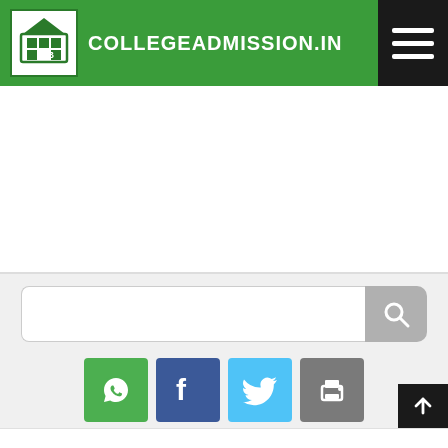COLLEGEADMISSION.IN
[Figure (screenshot): Advertisement/banner area (white space)]
[Figure (screenshot): Search bar with magnifying glass button]
[Figure (infographic): Social sharing buttons: WhatsApp, Facebook, Twitter, Print]
57 Women's Colleges found in Punjab.
RANKINGS 2022 (based on NIRF ranking)